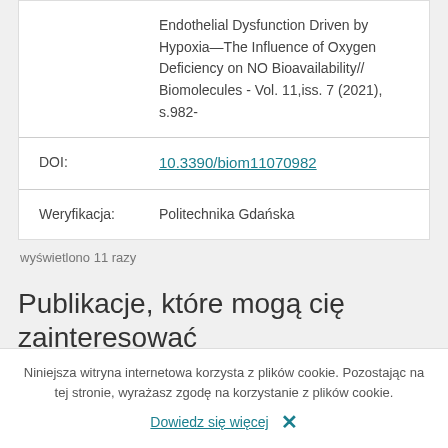|  | Endothelial Dysfunction Driven by Hypoxia—The Influence of Oxygen Deficiency on NO Bioavailability// Biomolecules - Vol. 11,iss. 7 (2021), s.982- |
| DOI: | 10.3390/biom11070982 |
| Weryfikacja: | Politechnika Gdańska |
wyświetlono 11 razy
Publikacje, które mogą cię zainteresować
Niniejsza witryna internetowa korzysta z plików cookie. Pozostając na tej stronie, wyrażasz zgodę na korzystanie z plików cookie.